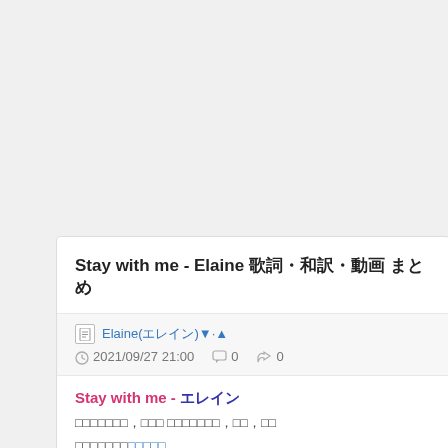Stay with me - Elaine 歌詞・和訳・動画 まとめ
Elaine(エレイン)▼·▲
2021/09/27 21:00  ☐ 0  ↺ 0
Stay with me - エレイン
エレインのプロフィール,エレイン ネイバーランド,カバー,コラボ
エレインのプロフィールページ
詳しくはこちら→※取り上げているコンテンツは全て総合情報サイトのリンク付きです。
1Ｎ動画(ユーチューブ)、Ｎ歌詞、Ｎ和訳、Ｎレコーディングインフォ、Ｎインタビュー♩
[Figure (screenshot): YouTube video thumbnail showing KDRAMA channel with title 'エレイン(Elaine) - Stay with me (주인아양...)' and a man in suit on dark background]